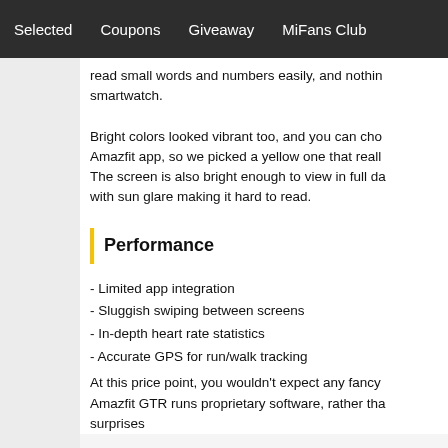Selected   Coupons   Giveaway   MiFans Club
read small words and numbers easily, and nothing smartwatch.
Bright colors looked vibrant too, and you can cho Amazfit app, so we picked a yellow one that reall The screen is also bright enough to view in full da with sun glare making it hard to read.
Performance
- Limited app integration
- Sluggish swiping between screens
- In-depth heart rate statistics
- Accurate GPS for run/walk tracking
At this price point, you wouldn't expect any fancy Amazfit GTR runs proprietary software, rather tha surprises